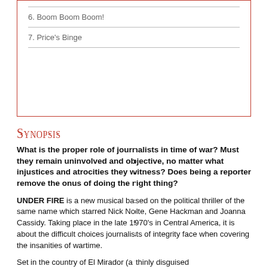6. Boom Boom Boom!
7. Price's Binge
Synopsis
What is the proper role of journalists in time of war? Must they remain uninvolved and objective, no matter what injustices and atrocities they witness? Does being a reporter remove the onus of doing the right thing?
UNDER FIRE is a new musical based on the political thriller of the same name which starred Nick Nolte, Gene Hackman and Joanna Cassidy. Taking place in the late 1970's in Central America, it is about the difficult choices journalists of integrity face when covering the insanities of wartime.
Set in the country of El Mirador (a thinly disguised